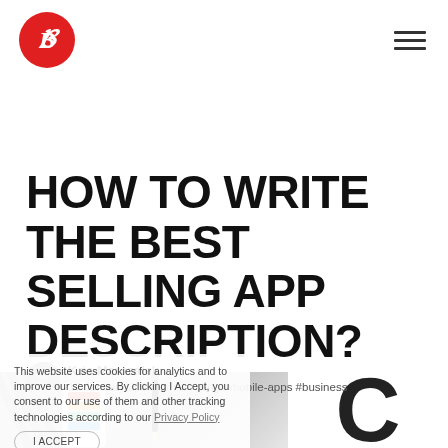Brainly logo and navigation hamburger menu
HOW TO WRITE THE BEST SELLING APP DESCRIPTION?
Kris Marszalek
17 January 2017 · #marketing #mobile-apps #business
This website uses cookies for analytics and to improve our services. By clicking I Accept, you consent to our use of them and other tracking technologies according to our Privacy Policy
[Figure (photo): Bottom portion of a desk photo showing a smartphone with colorful app icons, a pen, a notebook, and a large letter C visible on white paper]